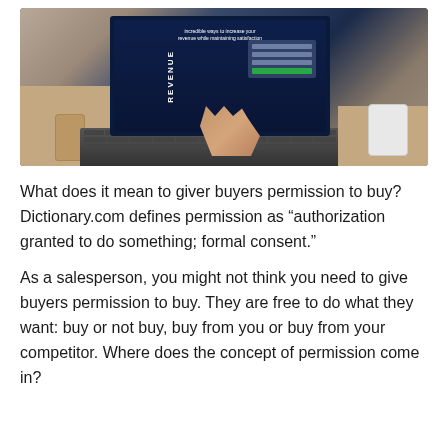[Figure (photo): Photo of a person typing on a laptop. The laptop screen displays a webpage about revenue. A glass jar is visible on the left, and a smartphone is on the right. Shot from above on a wooden desk.]
What does it mean to giver buyers permission to buy? Dictionary.com defines permission as “author­ization granted to do something; formal consent.”
As a salesperson, you might not think you need to give buyers permission to buy. They are free to do what they want: buy or not buy, buy from you or buy from your competitor. Where does the concept of permission come in?